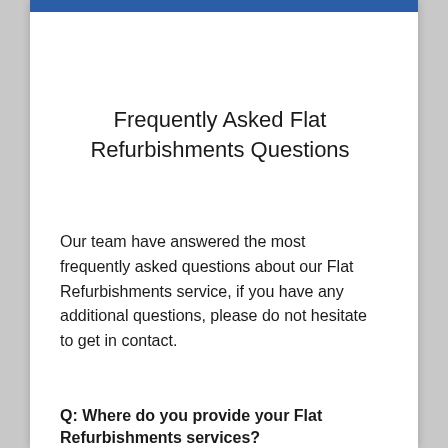Frequently Asked Flat Refurbishments Questions
Our team have answered the most frequently asked questions about our Flat Refurbishments service, if you have any additional questions, please do not hesitate to get in contact.
Q: Where do you provide your Flat Refurbishments services?